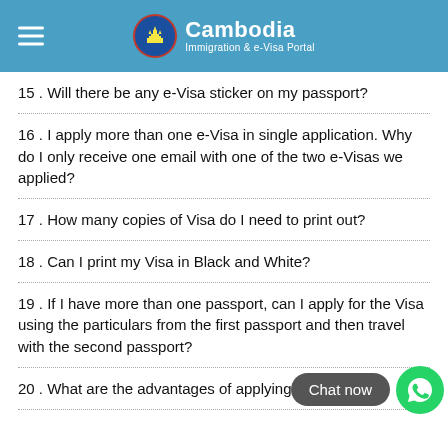Cambodia Immigration & e-Visa Portal
15 . Will there be any e-Visa sticker on my passport?
16 . I apply more than one e-Visa in single application. Why do I only receive one email with one of the two e-Visas we applied?
17 . How many copies of Visa do I need to print out?
18 . Can I print my Visa in Black and White?
19 . If I have more than one passport, can I apply for the Visa using the particulars from the first passport and then travel with the second passport?
20 . What are the advantages of applying Visa online?